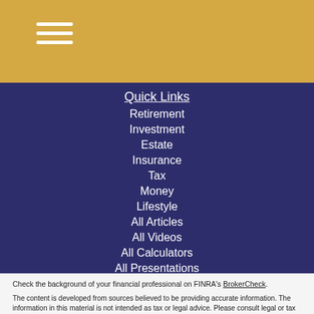≡ (hamburger menu icon)
Quick Links
Retirement
Investment
Estate
Insurance
Tax
Money
Lifestyle
All Articles
All Videos
All Calculators
All Presentations
Check the background of your financial professional on FINRA's BrokerCheck.
The content is developed from sources believed to be providing accurate information. The information in this material is not intended as tax or legal advice. Please consult legal or tax professionals for specific information regarding your individual situation. Some of this material was developed and produced by FMG Suite to provide information on a topic that may be of interest. FMG Suite is not